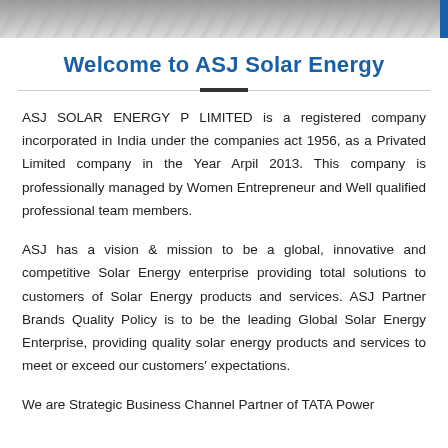[Figure (photo): Header image showing people, partially cropped at top of page]
Welcome to ASJ Solar Energy
ASJ SOLAR ENERGY P LIMITED is a registered company incorporated in India under the companies act 1956, as a Privated Limited company in the Year Arpil 2013. This company is professionally managed by Women Entrepreneur and Well qualified professional team members.
ASJ has a vision & mission to be a global, innovative and competitive Solar Energy enterprise providing total solutions to customers of Solar Energy products and services. ASJ Partner Brands Quality Policy is to be the leading Global Solar Energy Enterprise, providing quality solar energy products and services to meet or exceed our customers' expectations.
We are Strategic Business Channel Partner of TATA Power